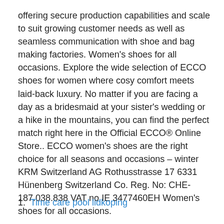offering secure production capabilities and scale to suit growing customer needs as well as seamless communication with shoe and bag making factories. Women's shoes for all occasions. Explore the wide selection of ECCO shoes for women where cosy comfort meets laid-back luxury. No matter if you are facing a day as a bridesmaid at your sister's wedding or a hike in the mountains, you can find the perfect match right here in the Official ECCO® Online Store.. ECCO women's shoes are the right choice for all seasons and occasions – winter KRM Switzerland AG Rothusstrasse 17 6331 Hünenberg Switzerland Co. Reg. No: CHE-187.038.838 VAT no IE 3477460EH Women's shoes for all occasions.
1. Time care pool lidkoping